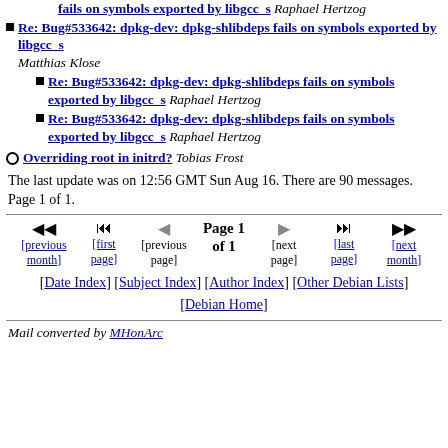Re: Bug#533642: dpkg-dev: dpkg-shlibdeps fails on symbols exported by libgcc_s Raphael Hertzog (partial, top)
Re: Bug#533642: dpkg-dev: dpkg-shlibdeps fails on symbols exported by libgcc_s Matthias Klose
Re: Bug#533642: dpkg-dev: dpkg-shlibdeps fails on symbols exported by libgcc_s Raphael Hertzog (nested)
Re: Bug#533642: dpkg-dev: dpkg-shlibdeps fails on symbols exported by libgcc_s Raphael Hertzog (nested)
Overriding root in initrd? Tobias Frost
The last update was on 12:56 GMT Sun Aug 16. There are 90 messages. Page 1 of 1.
Navigation: previous month, first page, previous page, Page 1 of 1, next page, last page, next month
[Date Index] [Subject Index] [Author Index] [Other Debian Lists] [Debian Home]
Mail converted by MHonArc